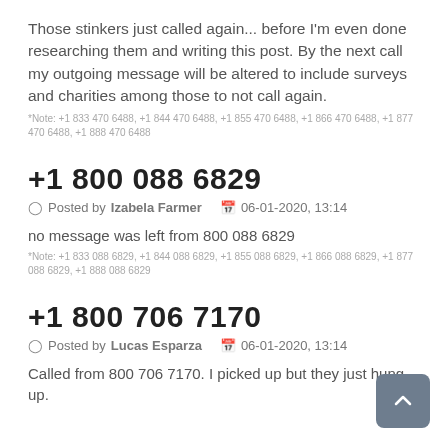Those stinkers just called again... before I'm even done researching them and writing this post. By the next call my outgoing message will be altered to include surveys and charities among those to not call again.
*Note: +1 833 470 6488, +1 844 470 6488, +1 855 470 6488, +1 866 470 6488, +1 877 470 6488, +1 888 470 6488
+1 800 088 6829
Posted by Izabela Farmer   06-01-2020, 13:14
no message was left from 800 088 6829
*Note: +1 833 088 6829, +1 844 088 6829, +1 855 088 6829, +1 866 088 6829, +1 877 088 6829, +1 888 088 6829
+1 800 706 7170
Posted by Lucas Esparza   06-01-2020, 13:14
Called from 800 706 7170. I picked up but they just hung up.